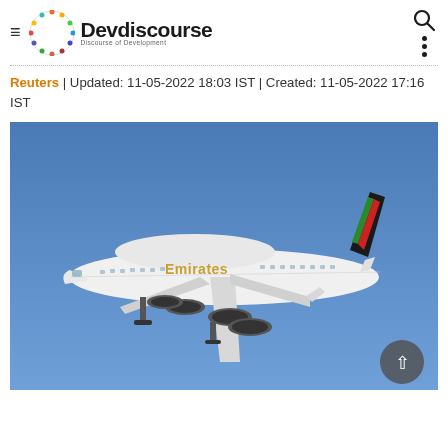Devdiscourse — Discourse of Development
Reuters | Updated: 11-05-2022 18:03 IST | Created: 11-05-2022 17:16 IST
[Figure (photo): Emirates Airbus A380 aircraft in flight against a blue sky, showing the aircraft from the side with Emirates livery and tail markings with red, black and green stripe]